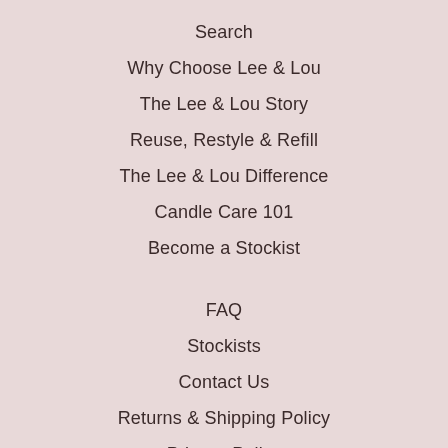Search
Why Choose Lee & Lou
The Lee & Lou Story
Reuse, Restyle & Refill
The Lee & Lou Difference
Candle Care 101
Become a Stockist
FAQ
Stockists
Contact Us
Returns & Shipping Policy
Privacy Policy
EVERY ORDER PLANTS A TREE!